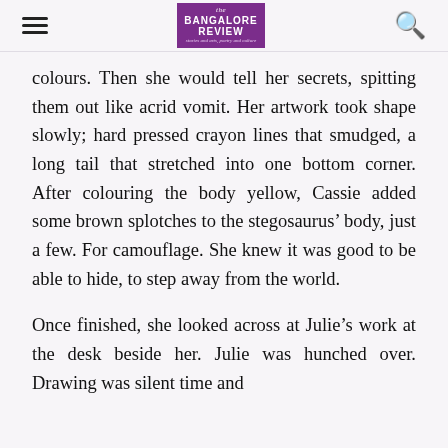the Bangalore Review
colours. Then she would tell her secrets, spitting them out like acrid vomit. Her artwork took shape slowly; hard pressed crayon lines that smudged, a long tail that stretched into one bottom corner. After colouring the body yellow, Cassie added some brown splotches to the stegosaurus’ body, just a few. For camouflage. She knew it was good to be able to hide, to step away from the world.
Once finished, she looked across at Julie’s work at the desk beside her. Julie was hunched over. Drawing was silent time and